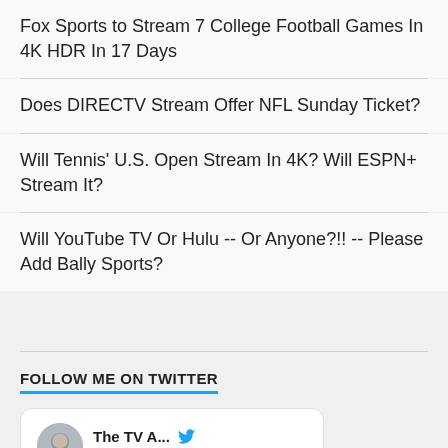Fox Sports to Stream 7 College Football Games In 4K HDR In 17 Days
Does DIRECTV Stream Offer NFL Sunday Ticket?
Will Tennis' U.S. Open Stream In 4K? Will ESPN+ Stream It?
Will YouTube TV Or Hulu -- Or Anyone?!! -- Please Add Bally Sports?
FOLLOW ME ON TWITTER
[Figure (screenshot): Embedded tweet card from 'The TV A...' (@TV...) posted 4h ago, with Twitter bird icon. Text: 'If you're in college, or have a kid in one, this is a great']